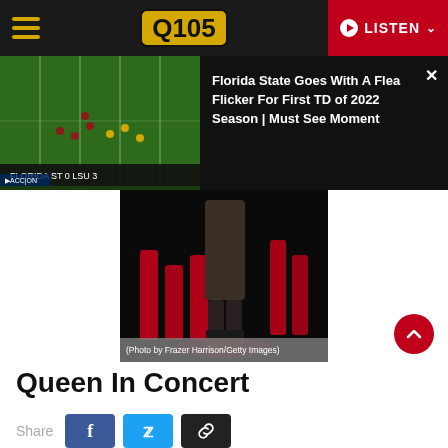Q105 | LISTEN
[Figure (screenshot): Video thumbnail of football game (Florida State flea flicker play) with popup overlay showing title text on dark background with close button]
Florida State Goes With A Flea Flicker For First TD of 2022 Season | Must See Moment
[Figure (photo): Concert photo — performer on stage with dramatic red lighting, dark background. Caption: (Photo by Frazer Harrison/Getty Images)]
(Photo by Frazer Harrison/Getty Images)
Queen In Concert
Share